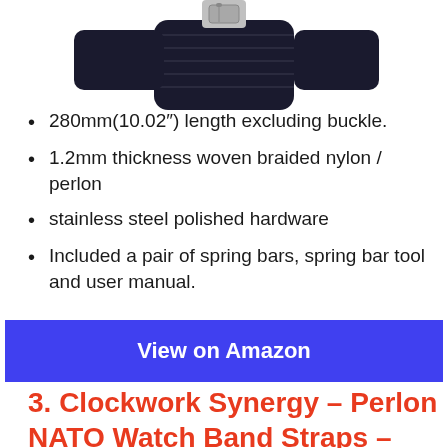[Figure (photo): Partial image of a dark/black woven watch strap with a silver buckle, cropped at the top of the page]
280mm(10.02″) length excluding buckle.
1.2mm thickness woven braided nylon / perlon
stainless steel polished hardware
Included a pair of spring bars, spring bar tool and user manual.
View on Amazon
3. Clockwork Synergy – Perlon NATO Watch Band Straps –